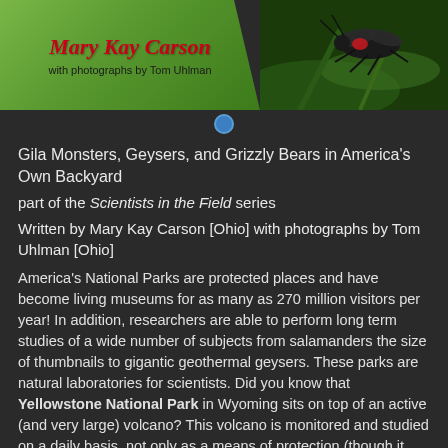[Figure (illustration): Book cover header banner showing 'Mary Kay Carson with photographs by Tom Uhlman' in red italic script on green background, with a photo of an insect on the right side]
Gila Monsters, Geysers, and Grizzly Bears in America's Own Backyard
part of the Scientists in the Field series
Written by Mary Kay Carson [Ohio] with photographs by Tom Uhlman [Ohio]
America's National Parks are protected places and have become living museums for as many as 270 million visitors per year! In addition, researchers are able to perform long term studies of a wide number of subjects from salamanders the size of thumbnails to gigantic geothermal geysers. These parks are natural laboratories for scientists. Did you know that Yellowstone National Park in Wyoming sits on top of an active (and very large) volcano? This volcano is monitored and studied on a daily basis, not only as a means of protection (though it seems a long way off from erupting) but also as a way of understanding how the environment changes and influences what goes on deep underground.